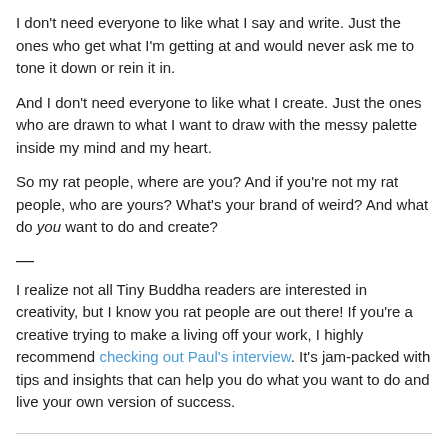I don't need everyone to like what I say and write. Just the ones who get what I'm getting at and would never ask me to tone it down or rein it in.
And I don't need everyone to like what I create. Just the ones who are drawn to what I want to draw with the messy palette inside my mind and my heart.
So my rat people, where are you? And if you're not my rat people, who are yours? What's your brand of weird? And what do you want to do and create?
—
I realize not all Tiny Buddha readers are interested in creativity, but I know you rat people are out there! If you're a creative trying to make a living off your work, I highly recommend checking out Paul's interview. It's jam-packed with tips and insights that can help you do what you want to do and live your own version of success.